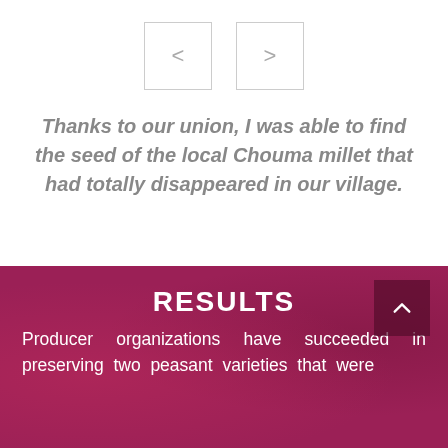[Figure (other): Navigation buttons: left arrow (<) and right arrow (>) enclosed in square bordered boxes]
Thanks to our union, I was able to find the seed of the local Chouma millet that had totally disappeared in our village.
RESULTS
Producer organizations have succeeded in preserving two peasant varieties that were